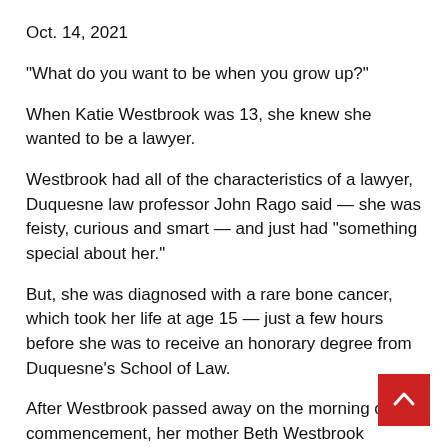Oct. 14, 2021
“What do you want to be when you grow up?”
When Katie Westbrook was 13, she knew she wanted to be a lawyer.
Westbrook had all of the characteristics of a lawyer, Duquesne law professor John Rago said — she was feisty, curious and smart — and just had “something special about her.”
But, she was diagnosed with a rare bone cancer, which took her life at age 15 — just a few hours before she was to receive an honorary degree from Duquesne’s School of Law.
After Westbrook passed away on the morning of commencement, her mother Beth Westbrook accepted the honorary degree on her behalf.
“Katie Westbrook’s presence in this law school, I think, unmistakably is still felt today,” Rago said.